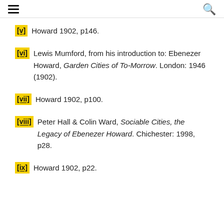≡  🔍
[v] Howard 1902, p146.
[vi] Lewis Mumford, from his introduction to: Ebenezer Howard, Garden Cities of To-Morrow. London: 1946 (1902).
[vii] Howard 1902, p100.
[viii] Peter Hall & Colin Ward, Sociable Cities, the Legacy of Ebenezer Howard. Chichester: 1998, p28.
[ix] Howard 1902, p22.